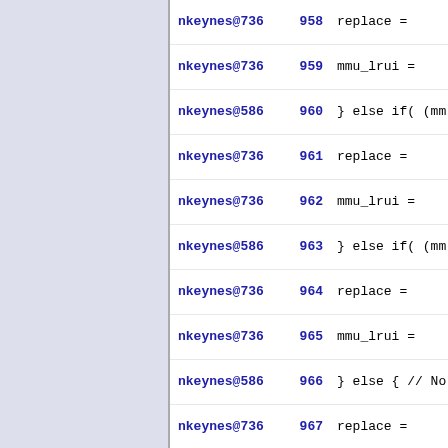nkeynes@736  958    replace =
nkeynes@736  959    mmu_lrui =
nkeynes@586  960    } else if( (mm
nkeynes@736  961    replace =
nkeynes@736  962    mmu_lrui =
nkeynes@586  963    } else if( (mm
nkeynes@736  964    replace =
nkeynes@736  965    mmu_lrui =
nkeynes@586  966    } else { // No
nkeynes@736  967    replace =